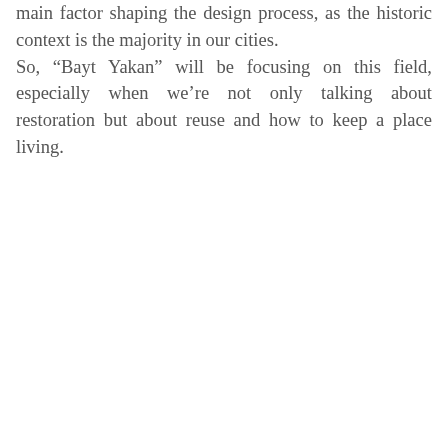main factor shaping the design process, as the historic context is the majority in our cities. So, “Bayt Yakan” will be focusing on this field, especially when we’re not only talking about restoration but about reuse and how to keep a place living.